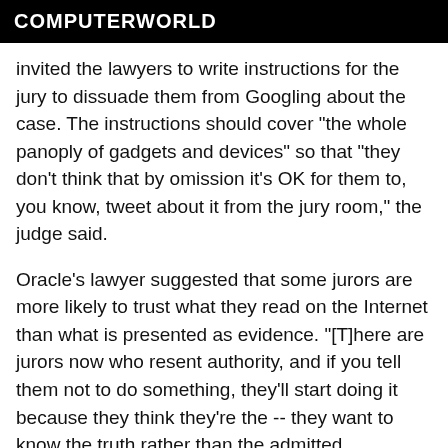COMPUTERWORLD
invited the lawyers to write instructions for the jury to dissuade them from Googling about the case. The instructions should cover "the whole panoply of gadgets and devices" so that "they don't think that by omission it's OK for them to, you know, tweet about it from the jury room," the judge said.
Oracle's lawyer suggested that some jurors are more likely to trust what they read on the Internet than what is presented as evidence. "[T]here are jurors now who resent authority, and if you tell them not to do something, they'll start doing it because they think they're the -- they want to know the truth rather than the admitted evidence," Pickett said, according to the